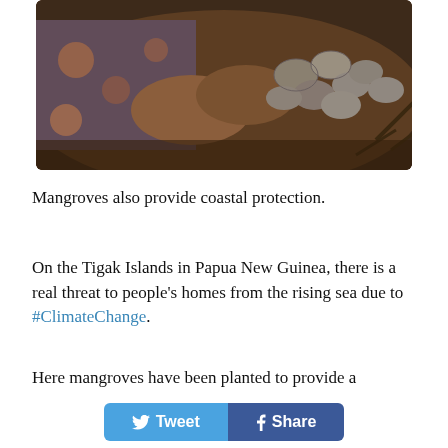[Figure (photo): Close-up of hands holding muddy shellfish/ark clams in a mangrove setting, person wearing patterned clothing]
Mangroves also provide coastal protection.
On the Tigak Islands in Papua New Guinea, there is a real threat to people's homes from the rising sea due to #ClimateChange.
Here mangroves have been planted to provide a potential barrier. #WorldMangrovesDay
In Choco, Colombia, the piangüa (ark clam) is gathered
[Figure (other): Tweet and Share social media buttons at the bottom of the page]